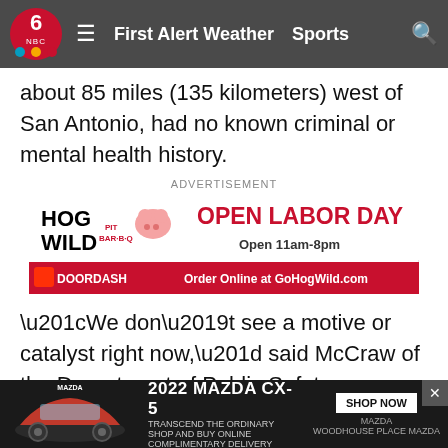6 NBC | First Alert Weather  Sports
about 85 miles (135 kilometers) west of San Antonio, had no known criminal or mental health history.
ADVERTISEMENT
[Figure (other): Hog Wild Pit Bar-B-Q advertisement: OPEN LABOR DAY, Open 11am-8pm, Order Online at GoHogWild.com, DoorDash logo]
“We don’t see a motive or catalyst right now,” said McCraw of the Department of Public Safety.
Ramos legally bought the rifle and a second one like it last week, just after his birthday, authorities said.
About a half-hour before the mass shooting, Ramos sent the firs… plans, Abbott…
[Figure (other): 2022 Mazda CX-5 advertisement overlay at bottom: TRANSCEND THE ORDINARY, SHOP AND BUY ONLINE, COMPLIMENTARY DELIVERY, SHOP NOW button, Woodhouse Place Mazda logo]